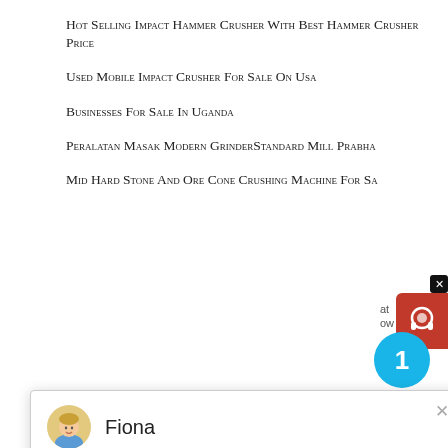Hot Selling Impact Hammer Crusher With Best Hammer Crusher Price
Used Mobile Impact Crusher For Sale On Usa
Businesses For Sale In Uganda
Peralatan Masak Modern GrinderStandard Mill Prabha...
Mid Hard Stone And Ore Cone Crushing Machine For Sa...
[Figure (screenshot): Chat widget with avatar of Fiona, name 'Fiona', message 'Hello, I am Fiona, I am very glad to talk with you!']
Chrome Ore Mining Companies In India
Environmental Impact Of Coal Mining I Nigeria
Flexible Shaft Grinder Machine For Carving Supplier
Pe Pew Series Small Used Rock Crusher For Sale
Molienda De Minerales En Callao